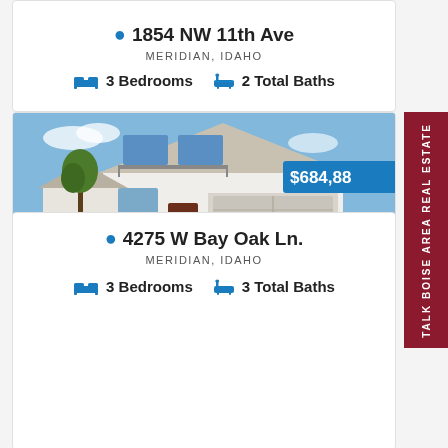1854 NW 11th Ave
MERIDIAN, IDAHO
3 Bedrooms  2 Total Baths
[Figure (photo): Exterior photo of a modern white farmhouse with two-car garage, green lawn, brick driveway. Price badge showing $684,88[x] in blue overlay top right.]
4275 W Bay Oak Ln.
MERIDIAN, IDAHO
3 Bedrooms  3 Total Baths
TALK BOISE AREA REAL ESTATE